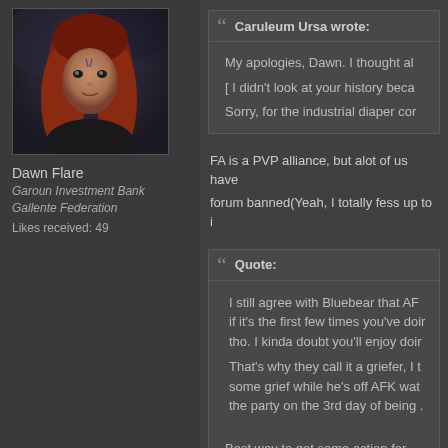[Figure (photo): Avatar image of Dawn Flare, a woman with long red hair wearing dark clothing against a dark background]
Dawn Flare
Garoun Investment Bank
Gallente Federation
Likes received: 49
Caruleum Ursa wrote:
My apologies, Dawn. I thought al
[ I didn't look at your history beca
Sorry, for the industrial diaper cor
FA is a PVP alliance, but alot of us have
forum banned(Yeah, I totally fess up to i
Quote:
I still agree with Bluebear that AF
if it's the first few times you've doi
tho. I kinda doubt you'll enjoy doir
That's why they call it a griefer, I t
some grief while he's off AFK wat
the party on the 3rd day of being .

Best way to get some action for